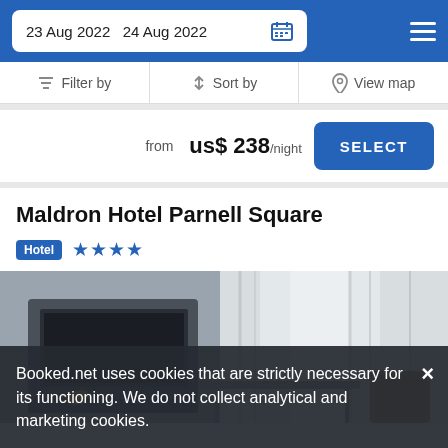23 Aug 2022  24 Aug 2022
Filter by  Sort by  View map
from  us$ 238/night
SELECT
Maldron Hotel Parnell Square
Hotel  ★★★★
[Figure (photo): Hotel room interior showing TV console, yellow flowers, curtains and seating area]
Booked.net uses cookies that are strictly necessary for its functioning. We do not collect analytical and marketing cookies.